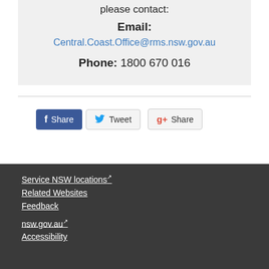please contact:
Email: Central.Coast.Office@rms.nsw.gov.au
Phone: 1800 670 016
[Figure (infographic): Social sharing buttons: Facebook Share, Tweet, Google+ Share]
Service NSW locations↗
Related Websites
Feedback

nsw.gov.au↗
Accessibility